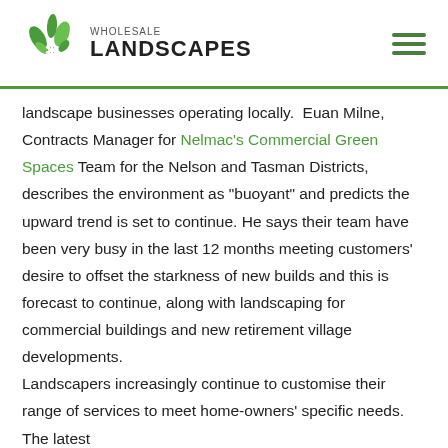Wholesale Landscapes
landscape businesses operating locally.  Euan Milne, Contracts Manager for Nelmac's Commercial Green Spaces Team for the Nelson and Tasman Districts, describes the environment as “buoyant” and predicts the upward trend is set to continue. He says their team have been very busy in the last 12 months meeting customers’ desire to offset the starkness of new builds and this is forecast to continue, along with landscaping for commercial buildings and new retirement village developments.
Landscapers increasingly continue to customise their range of services to meet home-owners’ specific needs. The latest